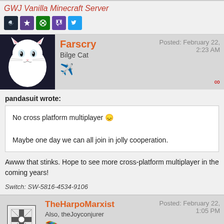GWJ Vanilla Minecraft Server
[Figure (infographic): Row of social/platform icons: Steam, GOG, Xbox, Twitch, Twitter]
[Figure (photo): White cat avatar photo for user Farscry]
Farscry
Bilge Cat
[airplane emoji]
Posted: February 22, 2:23 AM
pandasuit wrote:
No cross platform multiplayer 😕

Maybe one day we can all join in jolly cooperation.
Awww that stinks. Hope to see more cross-platform multiplayer in the coming years!
Switch: SW-5816-4534-9106
[Figure (photo): Avatar image for TheHarpoMarxist showing a puzzle/cross icon]
TheHarpoMarxist
Also, theJoyconjurer
[parachute emoji]
Posted: February 22, 1:05 PM